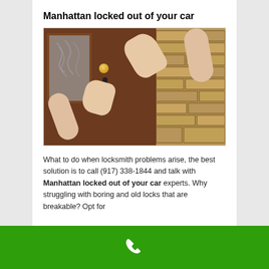Manhattan locked out of your car
[Figure (photo): A person using a key/lockpick tool to open a wooden door with a glass panel and brick wall background. Two hands are visible working on the door lock and handle.]
What to do when locksmith problems arise, the best solution is to call (917) 338-1844 and talk with Manhattan locked out of your car experts. Why struggling with boring and old locks that are breakable? Opt for